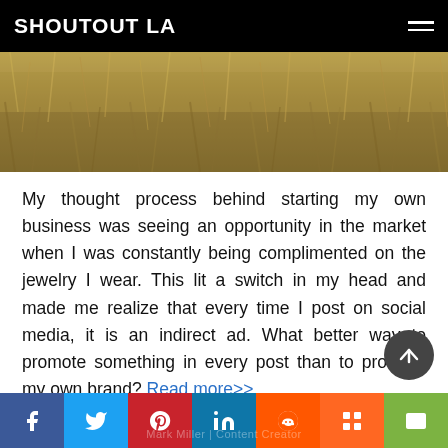SHOUTOUT LA
[Figure (photo): Close-up photograph of dry golden grass or wheat field]
My thought process behind starting my own business was seeing an opportunity in the market when I was constantly being complimented on the jewelry I wear. This lit a switch in my head and made me realize that every time I post on social media, it is an indirect ad. What better way to promote something in every post than to promote my own brand? Read more>>
Mark Miller | Content Creator